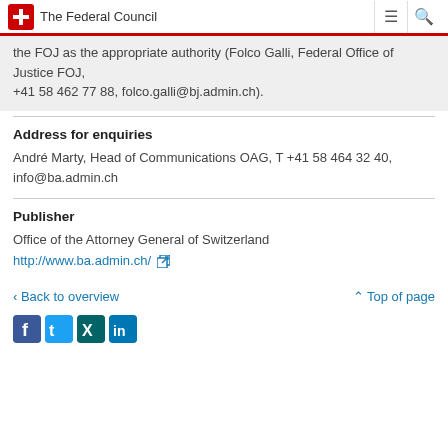The Federal Council
the FOJ as the appropriate authority (Folco Galli, Federal Office of Justice FOJ, +41 58 462 77 88, folco.galli@bj.admin.ch).
Address for enquiries
André Marty, Head of Communications OAG, T +41 58 464 32 40, info@ba.admin.ch
Publisher
Office of the Attorney General of Switzerland
http://www.ba.admin.ch/
< Back to overview
^ Top of page